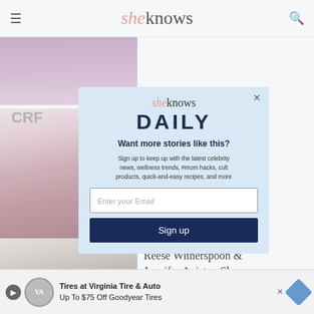sheknows
[Figure (photo): Partial photo of a person in a pink/purple top, cropped at top of page]
[Figure (photo): Photo of an Asian woman with long dark hair at a CRF event]
EWS
ing Modern Vibes In g Leggy
[Figure (photo): Photo of Reese Witherspoon and Jennifer Aniston at an event]
EWS
Reese Witherspoon & Jennifer Aniston Show They're the Ultimat...
[Figure (screenshot): SheKnows Daily email signup modal popup with logo, headline, subtext, email input, and Sign up button]
Tires at Virginia Tire & Auto
Up To $75 Off Goodyear Tires